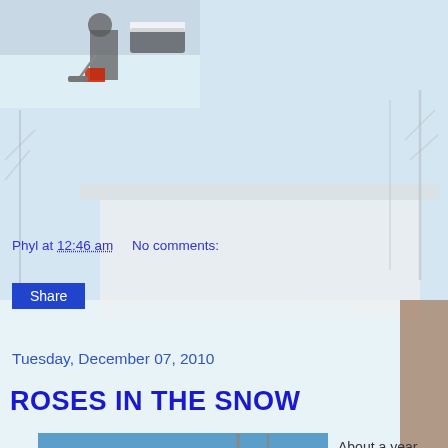[Figure (photo): Partial top photo showing a person shoveling snow with red clothing visible, snowy outdoor scene]
[Figure (photo): Winter background scene showing a white house/bungalow covered in snow with bare trees around it]
Phyl at 12:46 am    No comments:
Share
Tuesday, December 07, 2010
ROSES IN THE SNOW
[Figure (photo): Photo of snow-covered rose hips and dry flower stems against a wooden fence with blue sky and snowy trees in background]
About a year ago Jessops were selling beautiful polarizer filters at about £45. I